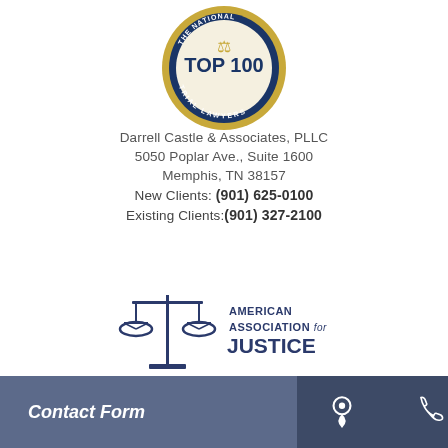[Figure (logo): Top 100 Trial Lawyers badge — circular medallion with gold/navy border, figure of justice, text 'TOP 100 TRIAL LAWYERS']
Darrell Castle & Associates, PLLC
5050 Poplar Ave., Suite 1600
Memphis, TN 38157
New Clients: (901) 625-0100
Existing Clients:(901) 327-2100
[Figure (logo): American Association for Justice logo — scales of justice icon with text 'AMERICAN ASSOCIATION for JUSTICE' in navy blue]
Contact Form
[Figure (other): Map pin / location icon in white]
[Figure (other): Phone handset icon in white]